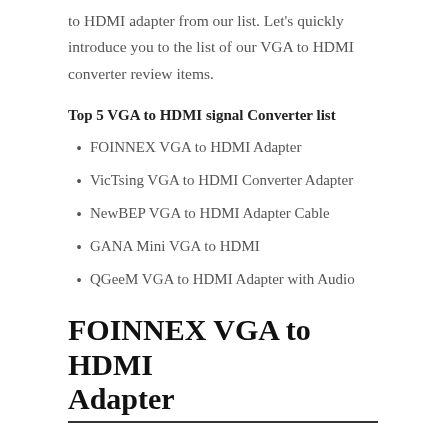to HDMI adapter from our list. Let's quickly introduce you to the list of our VGA to HDMI converter review items.
Top 5 VGA to HDMI signal Converter list
FOINNEX VGA to HDMI Adapter
VicTsing VGA to HDMI Converter Adapter
NewBEP VGA to HDMI Adapter Cable
GANA Mini VGA to HDMI
QGeeM VGA to HDMI Adapter with Audio
FOINNEX VGA to HDMI Adapter